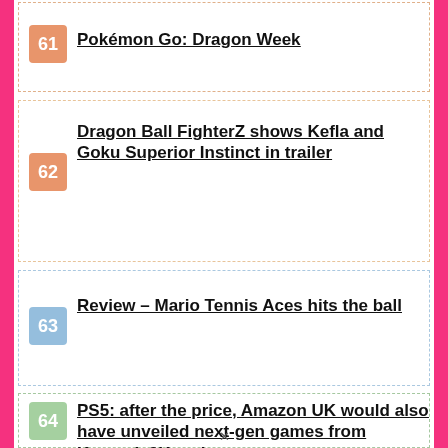61 Pokémon Go: Dragon Week
62 Dragon Ball FighterZ shows Kefla and Goku Superior Instinct in trailer
63 Review – Mario Tennis Aces hits the ball
64 PS5: after the price, Amazon UK would also have unveiled next-gen games from Konami, 2K and more